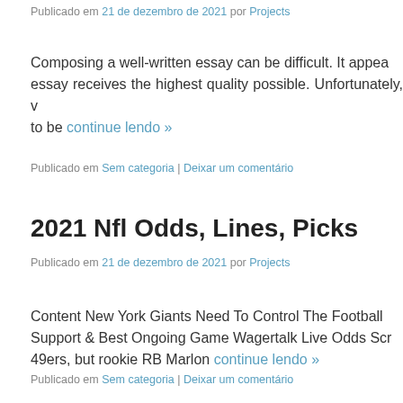Publicado em 21 de dezembro de 2021 por Projects
Composing a well-written essay can be difficult. It appea essay receives the highest quality possible. Unfortunately, to be continue lendo »
Publicado em Sem categoria | Deixar um comentário
2021 Nfl Odds, Lines, Picks
Publicado em 21 de dezembro de 2021 por Projects
Content New York Giants Need To Control The Football Support & Best Ongoing Game Wagertalk Live Odds Scr 49ers, but rookie RB Marlon continue lendo »
Publicado em Sem categoria | Deixar um comentário